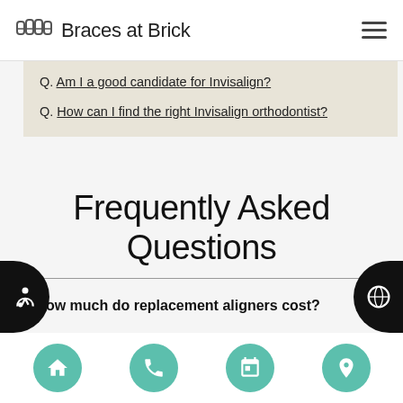Braces at Brick
Q. Am I a good candidate for Invisalign?
Q. How can I find the right Invisalign orthodontist?
Frequently Asked Questions
Q. How much do replacement aligners cost?
A. Replacement aligners may be included in the package offered at the beginning of treatment. However, this is not always the case. We can go